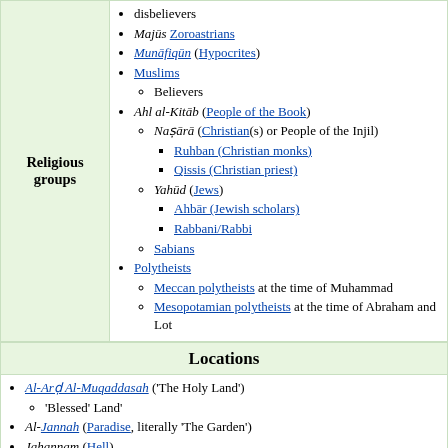disbelievers
Majūs Zoroastrians
Munāfiqūn (Hypocrites)
Muslims
Believers
Ahl al-Kitāb (People of the Book)
Naṣārā (Christian(s) or People of the Injil)
Ruhban (Christian monks)
Qissis (Christian priest)
Yahūd (Jews)
Ahbār (Jewish scholars)
Rabbani/Rabbi
Sabians
Polytheists
Meccan polytheists at the time of Muhammad
Mesopotamian polytheists at the time of Abraham and Lot
Locations
Al-Arḍ Al-Muqaddasah ('The Holy Land')
'Blessed' Land'
Al-Jannah (Paradise, literally 'The Garden')
Jahannam (Hell)